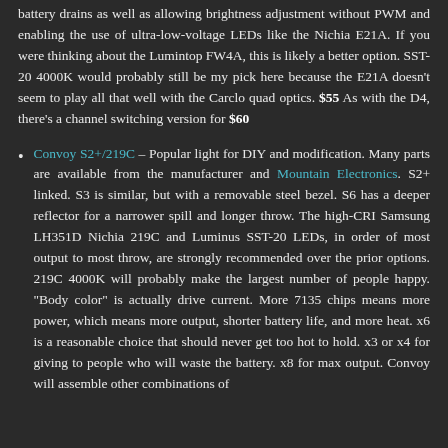battery drains as well as allowing brightness adjustment without PWM and enabling the use of ultra-low-voltage LEDs like the Nichia E21A. If you were thinking about the Lumintop FW4A, this is likely a better option. SST-20 4000K would probably still be my pick here because the E21A doesn't seem to play all that well with the Carclo quad optics. $55 As with the D4, there's a channel switching version for $60
Convoy S2+/219C – Popular light for DIY and modification. Many parts are available from the manufacturer and Mountain Electronics. S2+ linked. S3 is similar, but with a removable steel bezel. S6 has a deeper reflector for a narrower spill and longer throw. The high-CRI Samsung LH351D Nichia 219C and Luminus SST-20 LEDs, in order of most output to most throw, are strongly recommended over the prior options. 219C 4000K will probably make the largest number of people happy. "Body color" is actually drive current. More 7135 chips means more power, which means more output, shorter battery life, and more heat. x6 is a reasonable choice that should never get too hot to hold. x3 or x4 for giving to people who will waste the battery. x8 for max output. Convoy will assemble other combinations of